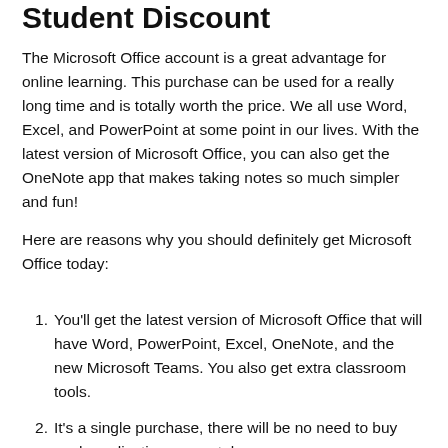Student Discount
The Microsoft Office account is a great advantage for online learning. This purchase can be used for a really long time and is totally worth the price. We all use Word, Excel, and PowerPoint at some point in our lives. With the latest version of Microsoft Office, you can also get the OneNote app that makes taking notes so much simpler and fun!
Here are reasons why you should definitely get Microsoft Office today:
You'll get the latest version of Microsoft Office that will have Word, PowerPoint, Excel, OneNote, and the new Microsoft Teams. You also get extra classroom tools.
It's a single purchase, there will be no need to buy each application separately.